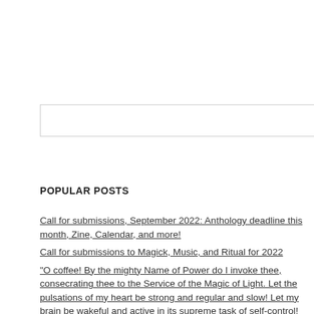[search input box]
POPULAR POSTS
Call for submissions, September 2022: Anthology deadline this month, Zine, Calendar, and more!
Call for submissions to Magick, Music, and Ritual for 2022
"O coffee! By the mighty Name of Power do I invoke thee, consecrating thee to the Service of the Magic of Light. Let the pulsations of my heart be strong and regular and slow! Let my brain be wakeful and active in its supreme task of self-control! That my desired end may be effected through Thy strength, Adonai, unto Whom be the Glory for ever! Amen without lie, and